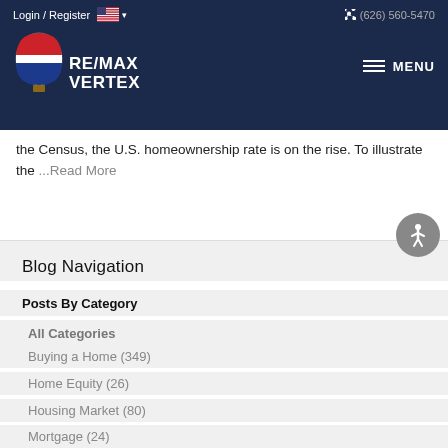Login / Register   (626) 560-5470
[Figure (logo): RE/MAX Vertex logo with hot air balloon and text RE/MAX VERTEX on dark navy background]
the Census, the U.S. homeownership rate is on the rise. To illustrate the ...Read More
Blog Navigation
Posts By Category
All Categories
Buying a Home  (349)
Home Equity  (26)
Housing Market  (80)
Mortgage  (24)